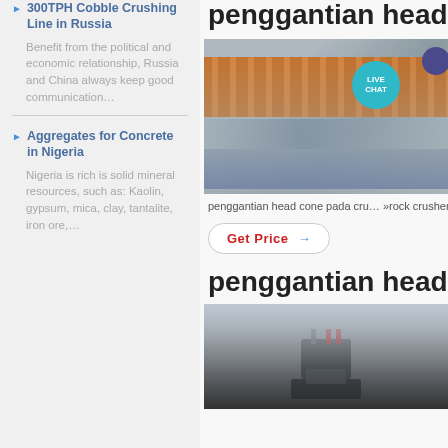300TPH Cobble Crushing Line in Russia
Benefit from the political and economic relationship, Russia and China always keep good communication…
Aggregates for Concrete in Nigeria
Nigeria is rich is solid mineral resources, such as: Kaolin, gypsum, mica, clay, tantalite, iron ore,…
penggantian head
[Figure (photo): Industrial vibrating screen with orange/copper-colored bars and gray metal frame, with LIVE CHAT badge overlay]
penggantian head cone pada cru… »rock crusher penggantian grates…
Get Price →
penggantian head
[Figure (photo): Industrial crusher machinery silhouette against gray background]